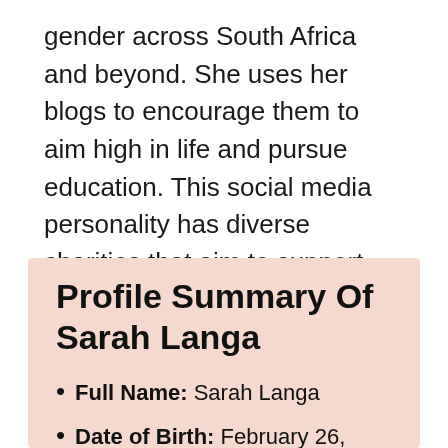gender across South Africa and beyond. She uses her blogs to encourage them to aim high in life and pursue education. This social media personality has diverse charities that aim to support the education of children who are willing to learn but cannot go to school because they come from low-income families.
Profile Summary Of Sarah Langa
Full Name: Sarah Langa
Date of Birth: February 26, 1993
Age: 29 years old